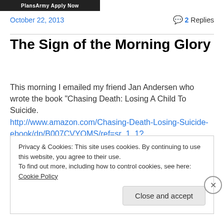[Figure (screenshot): Dark banner with white text 'PlansArmy Apply Now']
October 22, 2013
💬 2 Replies
The Sign of the Morning Glory
This morning I emailed my friend Jan Andersen who wrote the book "Chasing Death: Losing A Child To Suicide. http://www.amazon.com/Chasing-Death-Losing-Suicide-ebook/dp/B007CVYQMS/ref=sr_1_1?
Privacy & Cookies: This site uses cookies. By continuing to use this website, you agree to their use.
To find out more, including how to control cookies, see here: Cookie Policy
Close and accept